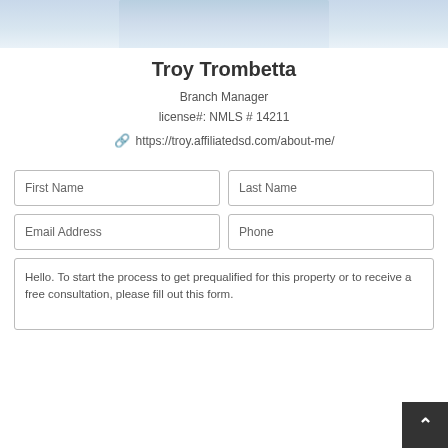[Figure (photo): Partial photo of Troy Trombetta at top of page, showing shoulders/collar of light blue shirt]
Troy Trombetta
Branch Manager
license#: NMLS # 14211
https://troy.affiliatedsd.com/about-me/
First Name
Last Name
Email Address
Phone
Hello. To start the process to get prequalified for this property or to receive a free consultation, please fill out this form.